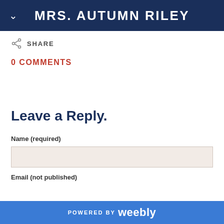MRS. AUTUMN RILEY
SHARE
0 COMMENTS
Leave a Reply.
Name (required)
Email (not published)
POWERED BY weebly